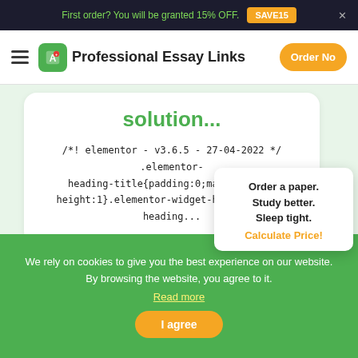First order? You will be granted 15% OFF. SAVE15
Professional Essay Links  Order Now
solution...
/*! elementor - v3.6.5 - 27-04-2022 */ .elementor-heading-title{padding:0;margin:0;line-height:1}.elementor-widget-heading .elementor-heading...
Order a paper. Study better. Sleep tight. Calculate Price!
We rely on cookies to give you the best experience on our website. By browsing the website, you agree to it. Read more
I agree